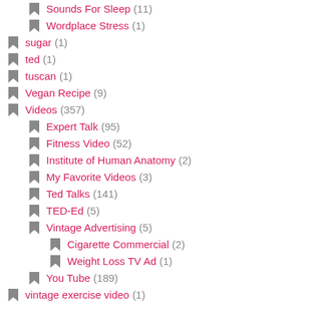Sounds For Sleep (11)
Wordplace Stress (1)
sugar (1)
ted (1)
tuscan (1)
Vegan Recipe (9)
Videos (357)
Expert Talk (95)
Fitness Video (52)
Institute of Human Anatomy (2)
My Favorite Videos (3)
Ted Talks (141)
TED-Ed (5)
Vintage Advertising (5)
Cigarette Commercial (2)
Weight Loss TV Ad (1)
You Tube (189)
vintage exercise video (1)